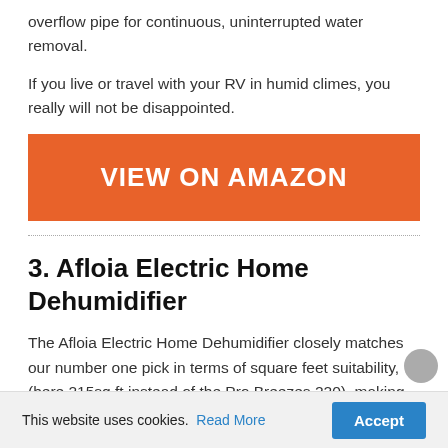overflow pipe for continuous, uninterrupted water removal.
If you live or travel with your RV in humid climes, you really will not be disappointed.
[Figure (other): Orange 'VIEW ON AMAZON' button]
3. Afloia Electric Home Dehumidifier
The Afloia Electric Home Dehumidifier closely matches our number one pick in terms of square feet suitability, (here 215sq ft instead of the Pro Breezes 220), making them suitable for large RV spaces.
This website uses cookies. Read More Accept